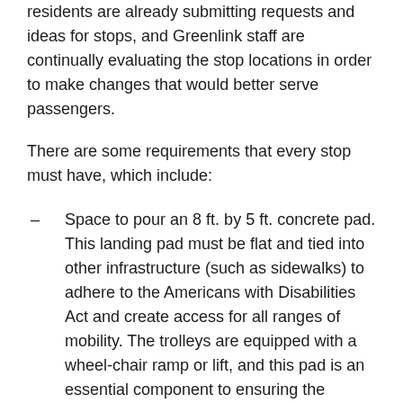As not surprising, the new trolleys are popular and residents are already submitting requests and ideas for stops, and Greenlink staff are continually evaluating the stop locations in order to make changes that would better serve passengers.
There are some requirements that every stop must have, which include:
Space to pour an 8 ft. by 5 ft. concrete pad. This landing pad must be flat and tied into other infrastructure (such as sidewalks) to adhere to the Americans with Disabilities Act and create access for all ranges of mobility. The trolleys are equipped with a wheel-chair ramp or lift, and this pad is an essential component to ensuring the ramp/lift works correctly.
Approval from the entity that owns and maintains the